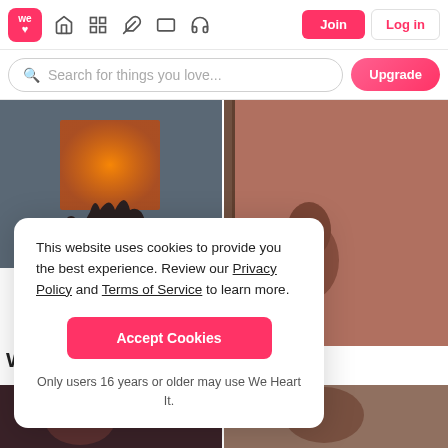[Figure (screenshot): We Heart It website navigation bar with logo, icons, Join and Log in buttons]
[Figure (screenshot): Search bar with placeholder text 'Search for things you love...' and pink Upgrade button]
[Figure (photo): Top-left photo showing orange glowing rectangle held by hands against dark background]
[Figure (photo): Top-right photo showing a person's face partially visible in a dark pinkish-brown setting]
ends, music and art.
This website uses cookies to provide you the best experience. Review our Privacy Policy and Terms of Service to learn more.
Accept Cookies
Only users 16 years or older may use We Heart It.
What's your favorite sad song?
[Figure (photo): Bottom-left photo, dark reddish tones]
[Figure (photo): Bottom-right photo, warm brownish tones]